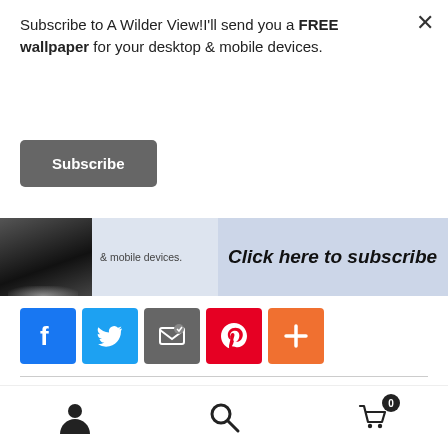Subscribe to A Wilder View!I'll send you a FREE wallpaper for your desktop & mobile devices.
[Figure (screenshot): Subscribe button with dark gray background and white bold text reading 'Subscribe']
[Figure (screenshot): Banner advertisement with a phone image on left, text '& mobile devices.' in middle, and 'Click here to subscribe' call-to-action on right with light blue background]
[Figure (infographic): Row of social sharing icons: Facebook (blue f), Twitter (blue bird), Email (envelope), Pinterest (red P), and More (orange plus)]
Categories: Animals, Artists, Business, Calendar, Products
Tags: Animals, Artwork, Canmore, Pacific Music and Art,
[Figure (screenshot): Bottom navigation toolbar with user account icon, search icon, and cart icon with badge showing 0]